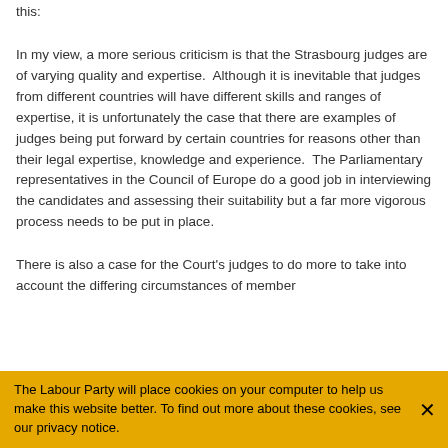this:
In my view, a more serious criticism is that the Strasbourg judges are of varying quality and expertise. Although it is inevitable that judges from different countries will have different skills and ranges of expertise, it is unfortunately the case that there are examples of judges being put forward by certain countries for reasons other than their legal expertise, knowledge and experience. The Parliamentary representatives in the Council of Europe do a good job in interviewing the candidates and assessing their suitability but a far more vigorous process needs to be put in place.
There is also a case for the Court's judges to do more to take into account the differing circumstances of member
The Labour Party will place cookies on your computer to help us make this website better. To find out more about these cookies, see our privacy notice.